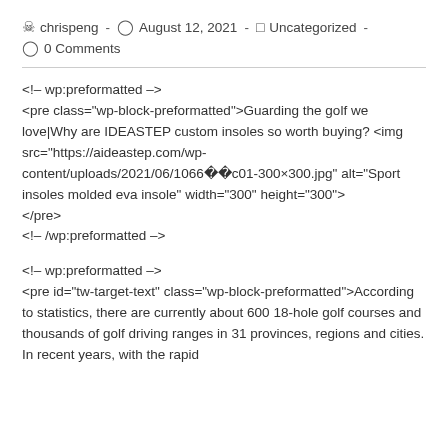chrispeng - August 12, 2021 - Uncategorized - 0 Comments
<!-- wp:preformatted -->
<pre class="wp-block-preformatted">Guarding the golf we love|Why are IDEASTEP custom insoles so worth buying?<img src="https://aideastep.com/wp-content/uploads/2021/06/1066ï¿½c01-300x300.jpg" alt="Sport insoles molded eva insole" width="300" height="300">
</pre>
<!-- /wp:preformatted -->
<!-- wp:preformatted -->
<pre id="tw-target-text" class="wp-block-preformatted">According to statistics, there are currently about 600 18-hole golf courses and thousands of golf driving ranges in 31 provinces, regions and cities. In recent years, with the rapid